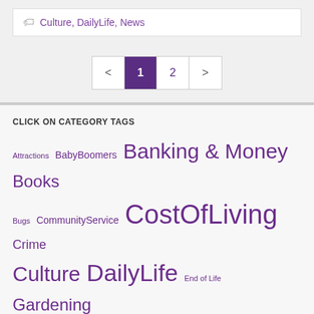Culture, DailyLife, News
< 1 2 >
CLICK ON CATEGORY TAGS
Attractions BabyBoomers Banking & Money Books Bugs CommunityService CostOfLiving Crime Culture DailyLife End of Life Gardening Healthcare Integration JoStuart Kitties LivingInternationally Mailbag Mexico MoneySavingTips Monkeys MovingToCostaRica Music News Newsletters Ni... PetsPlacesToSta...